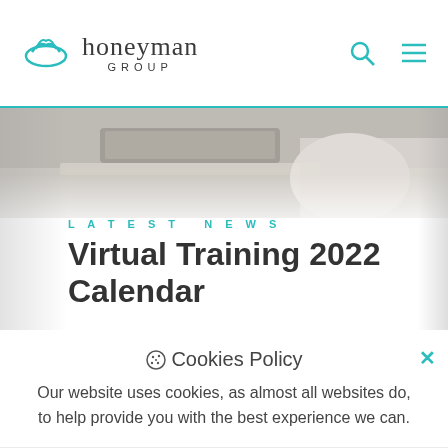honeyman GROUP
[Figure (photo): Partial view of a person working at a laptop on a desk, cropped at the top of the page below the header.]
LATEST NEWS
Virtual Training 2022 Calendar
🍪 Cookies Policy
Our website uses cookies, as almost all websites do, to help provide you with the best experience we can.
View All News